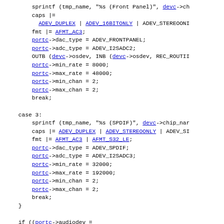[Figure (screenshot): Source code snippet in C showing audio device setup with sprintf, caps, fmt, portc assignments for Front Panel and SPDIF cases, and an oss_install_audiodev call. Contains hyperlinked identifiers in blue (devc, portc, ADEV_DUPLEX, ADEV_16BITONLY, ADEV_STEREOONLY, AFMT_AC3, AFMT_S32_LE, oss_install_audiodev).]